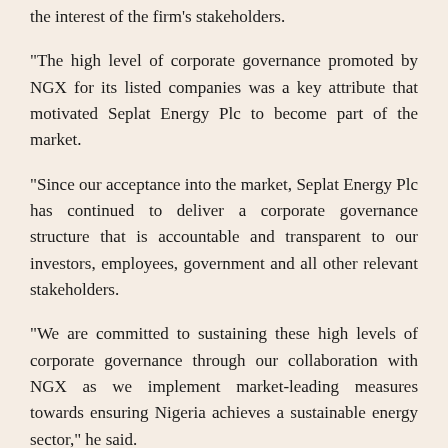the interest of the firm's stakeholders.
“The high level of corporate governance promoted by NGX for its listed companies was a key attribute that motivated Seplat Energy Plc to become part of the market.
“Since our acceptance into the market, Seplat Energy Plc has continued to deliver a corporate governance structure that is accountable and transparent to our investors, employees, government and all other relevant stakeholders.
“We are committed to sustaining these high levels of corporate governance through our collaboration with NGX as we implement market-leading measures towards ensuring Nigeria achieves a sustainable energy sector,” he said.
Corroborating him, Mr. Osiyi said “NGX has always...